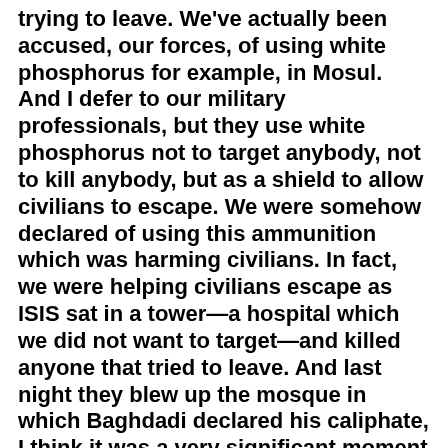trying to leave. We've actually been accused, our forces, of using white phosphorus for example, in Mosul. And I defer to our military professionals, but they use white phosphorus not to target anybody, not to kill anybody, but as a shield to allow civilians to escape. We were somehow declared of using this ammunition which was harming civilians. In fact, we were helping civilians escape as ISIS sat in a tower—a hospital which we did not want to target—and killed anyone that tried to leave. And last night they blew up the mosque in which Baghdadi declared his caliphate, I think it was a very significant moment here in the last 24 hours.
But back in 2014, if you rewind the tape, this announcement of a caliphate accelerated recruitment from around the world, with thousands of men, women, and even children, traveling through Turkey and into Syria through established smuggling networks.
About a month later in July 2014, ISIS broke...